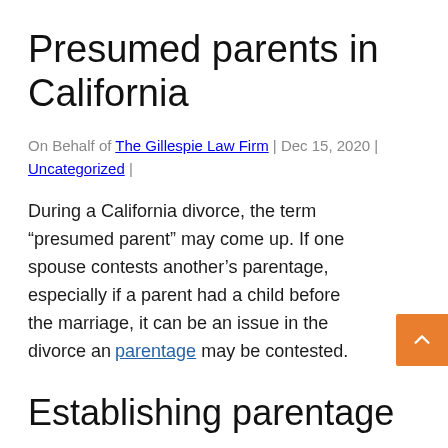Presumed parents in California
On Behalf of The Gillespie Law Firm | Dec 15, 2020 | Uncategorized |
During a California divorce, the term “presumed parent” may come up. If one spouse contests another’s parentage, especially if a parent had a child before the marriage, it can be an issue in the divorce and parentage may be contested.
Establishing parentage